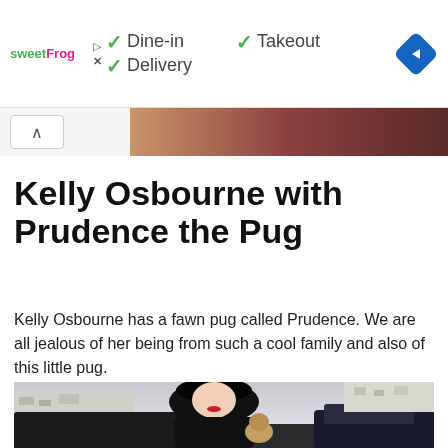[Figure (screenshot): SweetFrog advertisement banner showing Dine-in, Takeout, and Delivery options with checkmarks, sweetFrog logo on left, and a blue navigation diamond icon on right]
[Figure (photo): Collapsed image strip showing a partial preview of a brownish-red image with a collapse/expand chevron button on the left]
Kelly Osbourne with Prudence the Pug
Kelly Osbourne has a fawn pug called Prudence. We are all jealous of her being from such a cool family and also of this little pug.
[Figure (photo): Photo of Kelly Osbourne with black bob haircut, red lipstick, wearing black fur coat, holding a fawn pug (Prudence), stepping out of a car on a city street]